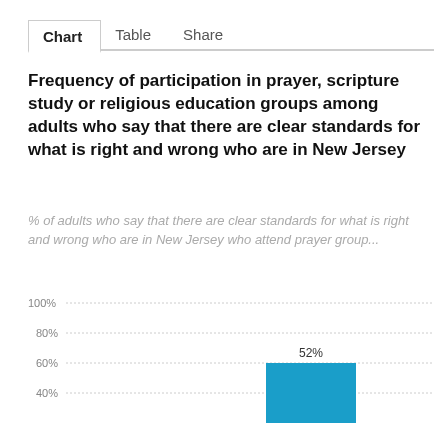Chart  Table  Share
Frequency of participation in prayer, scripture study or religious education groups among adults who say that there are clear standards for what is right and wrong who are in New Jersey
% of adults who say that there are clear standards for what is right and wrong who are in New Jersey who attend prayer group...
[Figure (bar-chart): Frequency of participation in prayer group - New Jersey]